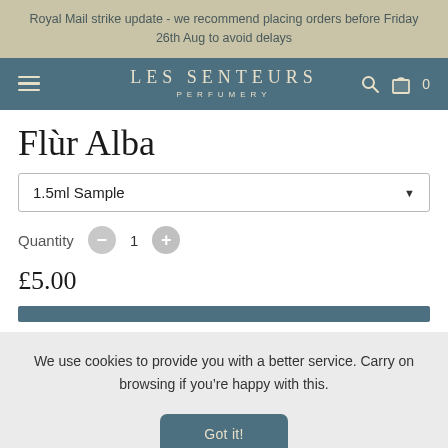Royal Mail strike update - we recommend placing orders before Friday 26th Aug to avoid delays
[Figure (screenshot): Les Senteurs Perfumery navigation bar with hamburger menu, brand logo, search icon, and shopping bag icon showing 0 items]
Flùr Alba
1.5ml Sample
Quantity  1
£5.00
We use cookies to provide you with a better service. Carry on browsing if you're happy with this.
Got it!